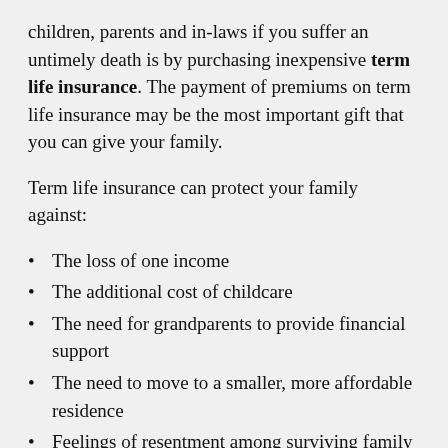children, parents and in-laws if you suffer an untimely death is by purchasing inexpensive term life insurance. The payment of premiums on term life insurance may be the most important gift that you can give your family.
Term life insurance can protect your family against:
The loss of one income
The additional cost of childcare
The need for grandparents to provide financial support
The need to move to a smaller, more affordable residence
Feelings of resentment among surviving family members
Negative relationship changes among surviving